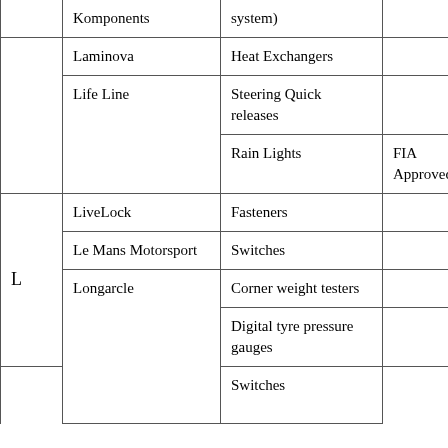|  | Supplier | Product | Notes |
| --- | --- | --- | --- |
|  | Komponents | system) |  |
|  | Laminova | Heat Exchangers |  |
|  | Life Line | Steering Quick releases |  |
|  | Life Line | Rain Lights | FIA Approved |
| L | LiveLock | Fasteners |  |
| L | Le Mans Motorsport | Switches |  |
| L | Longarcle | Corner weight testers |  |
| L | Longarcle | Digital tyre pressure gauges |  |
| L | Longarcle | Switches |  |